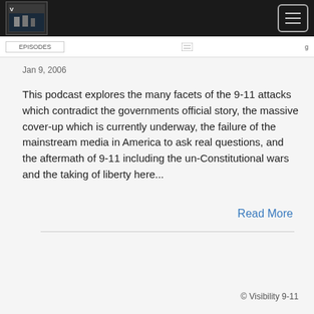Visibility 9-11 [logo and hamburger menu]
Jan 9, 2006
This podcast explores the many facets of the 9-11 attacks which contradict the governments official story, the massive cover-up which is currently underway, the failure of the mainstream media in America to ask real questions, and the aftermath of 9-11 including the un-Constitutional wars and the taking of liberty here...
Read More
© Visibility 9-11